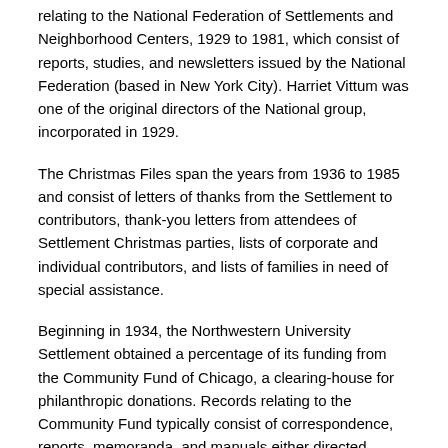relating to the National Federation of Settlements and Neighborhood Centers, 1929 to 1981, which consist of reports, studies, and newsletters issued by the National Federation (based in New York City). Harriet Vittum was one of the original directors of the National group, incorporated in 1929.
The Christmas Files span the years from 1936 to 1985 and consist of letters of thanks from the Settlement to contributors, thank-you letters from attendees of Settlement Christmas parties, lists of corporate and individual contributors, and lists of families in need of special assistance.
Beginning in 1934, the Northwestern University Settlement obtained a percentage of its funding from the Community Fund of Chicago, a clearing-house for philanthropic donations. Records relating to the Community Fund typically consist of correspondence, reports, memoranda, and manuals either directed specifically to the Settlement or sent to all participating social service agencies between 1934 and 1979. The Community Fund required exhaustive financial forms from the organizations it subsidized. The Annual Budget forms completed by the Northwestern University Settlement for the Community Fund span the years 1940 to 1978.